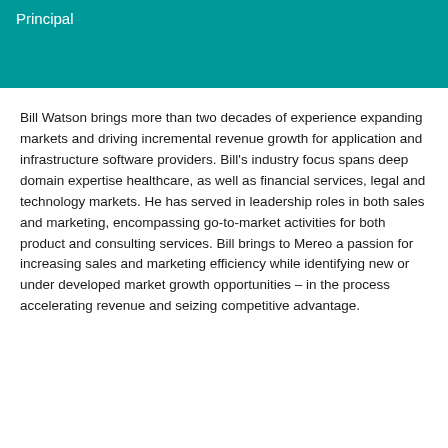Principal
Bill Watson brings more than two decades of experience expanding markets and driving incremental revenue growth for application and infrastructure software providers. Bill's industry focus spans deep domain expertise healthcare, as well as financial services, legal and technology markets. He has served in leadership roles in both sales and marketing, encompassing go-to-market activities for both product and consulting services. Bill brings to Mereo a passion for increasing sales and marketing efficiency while identifying new or under developed market growth opportunities – in the process accelerating revenue and seizing competitive advantage.